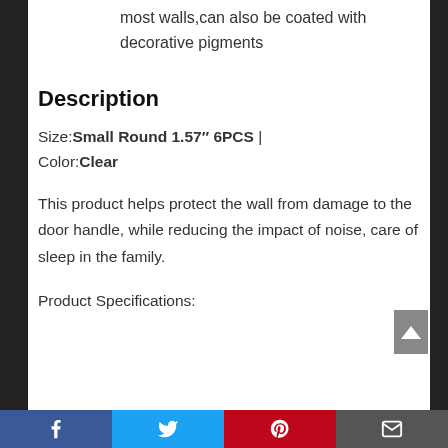most walls,can also be coated with decorative pigments
Description
Size:Small Round 1.57″ 6PCS | Color:Clear
This product helps protect the wall from damage to the door handle, while reducing the impact of noise, care of sleep in the family.
Product Specifications: